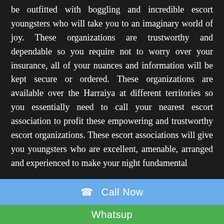be outfitted with boggling and incredible escort youngsters who will take you to an imaginary world of joy. These organizations are trustworthy and dependable so you require not to worry over your insurance, all of your nuances and information will be kept secure or ordered. These organizations are available over the Harraiya at different territories so you essentially need to call your nearest escort association to profit these empowering and trustworthy escort organizations. These escort associations will give you youngsters who are excellent, amenable, arranged and experienced to make your night fundamental
☎  Call Now
Whatsup